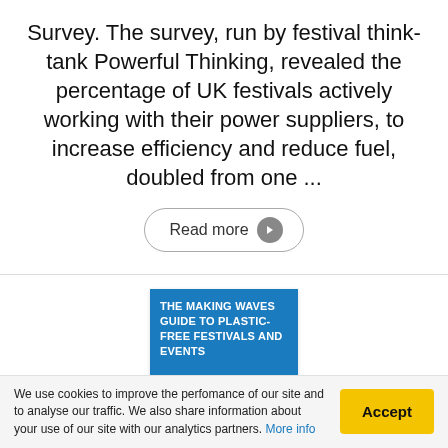Survey. The survey, run by festival think-tank Powerful Thinking, revealed the percentage of UK festivals actively working with their power suppliers, to increase efficiency and reduce fuel, doubled from one ...
Read more ▶
[Figure (illustration): Book cover titled 'THE MAKING WAVES GUIDE TO PLASTIC-FREE FESTIVALS AND EVENTS' with a blue header and an image of what appears to be reusable cup lids or similar circular items at the bottom.]
We use cookies to improve the perfomance of our site and to analyse our traffic. We also share information about your use of our site with our analytics partners. More info